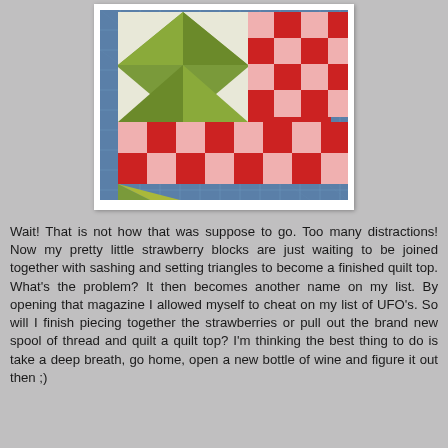[Figure (photo): A quilting block with red and pink checkerboard pattern squares and green/white triangles arranged in a star-like pattern, laid on a blue cutting mat.]
Wait!  That is not how that was suppose to go.  Too many distractions!  Now my pretty little strawberry blocks are just waiting to be joined together with sashing and setting triangles to become a finished quilt top.  What's the problem?  It then becomes another name on my list.  By opening that magazine I allowed myself to cheat on my list of UFO's.  So will I finish piecing together the strawberries or pull out the brand new spool of thread and quilt a quilt top?  I'm thinking the best thing to do is take a deep breath, go home, open a new bottle of wine and figure it out then ;)